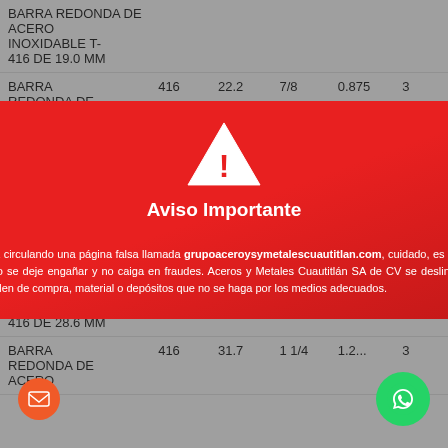| Descripción | Tipo | MM | Pulg | Decimal |
| --- | --- | --- | --- | --- |
| BARRA REDONDA DE ACERO INOXIDABLE T-416 DE 19.0 MM |  |  |  |  |
| BARRA REDONDA DE ACERO INOXIDABLE T-416 DE 22.2 MM | 416 | 22.2 | 7/8 | 0.875 |
| BARRA REDONDA ACERO INOXIDABLE T-416 DE 25.4 MM |  |  |  | 1 |
| BARRA REDONDA DE ACERO INOXIDABLE T-416 DE 28.6 MM |  |  |  | 1.125 |
| BARRA REDONDA DE ACERO INOXIDABLE T-416 DE 31.7 MM | 416 | 31.7 | 1 1/4 | 1.2... |
[Figure (screenshot): Modal popup with red background showing warning icon (triangle with exclamation mark), title 'Aviso Importante', date 'Octubre 2021', and warning text about a fake website called grupoaceroysymetalescuautitlan.com. Has a dark close button (X) in top-right corner.]
Aviso Importante
Octubre 2021
Precaución está circulando una página falsa llamada grupoaceroysymetalescuautitlan.com, cuidado, es una copia pirata de este sitio. No se deje engañar y no caiga en fraudes. Aceros y Metales Cuautitlán SA de CV se deslinda de cualquier negociación, orden de compra, material o depósitos que no se haga por los medios adecuados.